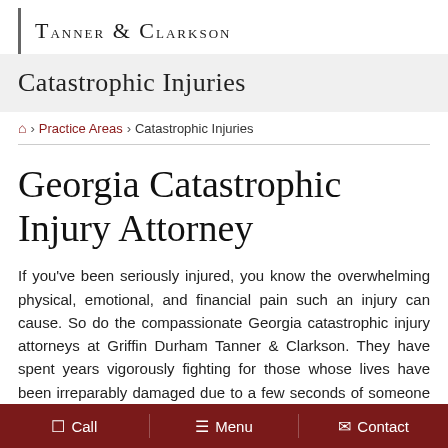Tanner & Clarkson
Catastrophic Injuries
🏠 > Practice Areas > Catastrophic Injuries
Georgia Catastrophic Injury Attorney
If you've been seriously injured, you know the overwhelming physical, emotional, and financial pain such an injury can cause. So do the compassionate Georgia catastrophic injury attorneys at Griffin Durham Tanner & Clarkson. They have spent years vigorously fighting for those whose lives have been irreparably damaged due to a few seconds of someone else's inattention, recklessness, or malice.
Call  Menu  Contact